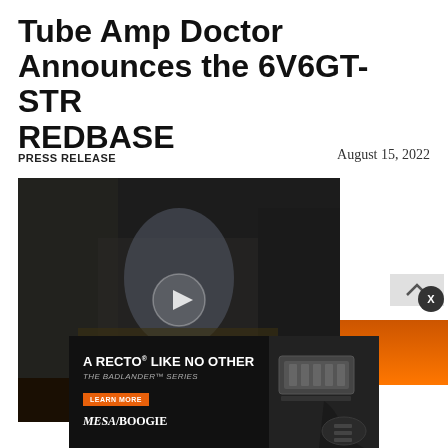Tube Amp Doctor Announces the 6V6GT-STR REDBASE
PRESS RELEASE
August 15, 2022
[Figure (photo): Video thumbnail showing a person playing an electric guitar in a room surrounded by guitar amplifiers. A play button overlay is visible in the center.]
[Figure (photo): Mesa/Boogie advertisement. Text reads: A RECTO LIKE NO OTHER / THE BADLANDER SERIES / LEARN MORE / MESA/BOOGIE. Shows a guitar amplifier head and electric guitar on a black background.]